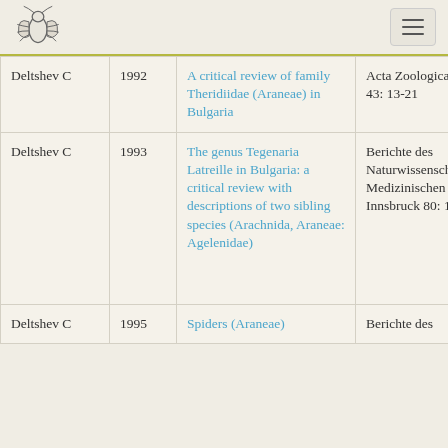Spider taxonomy bibliography page with logo and menu
| Author | Year | Title | Journal |
| --- | --- | --- | --- |
| Deltshev C | 1992 | A critical review of family Theridiidae (Araneae) in Bulgaria | Acta Zoologica Bulgarica 43: 13-21 |
| Deltshev C | 1993 | The genus Tegenaria Latreille in Bulgaria: a critical review with descriptions of two sibling species (Arachnida, Araneae: Agelenidae) | Berichte des Naturwissenschaftlichen Medizinischen Vereins in Innsbruck 80: 167-1... |
| Deltshev C | 1995 | Spiders (Araneae) | Berichte des ... |